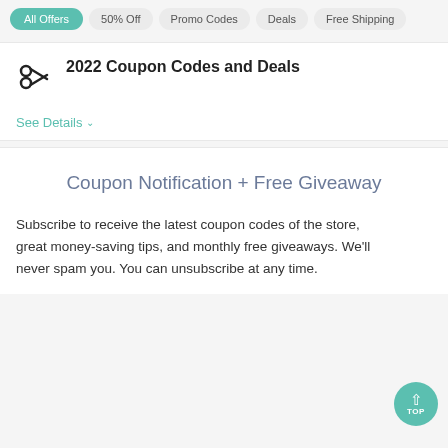All Offers  50% Off  Promo Codes  Deals  Free Shipping
2022 Coupon Codes and Deals
See Details
Coupon Notification + Free Giveaway
Subscribe to receive the latest coupon codes of the store, great money-saving tips, and monthly free giveaways. We'll never spam you. You can unsubscribe at any time.